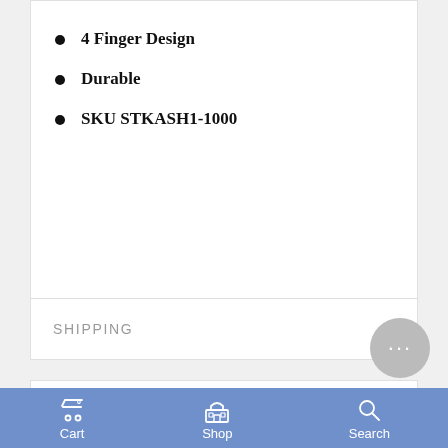4 Finger Design
Durable
SKU STKASH1-1000
SHIPPING
Customer Reviews
Cart  Shop  Search